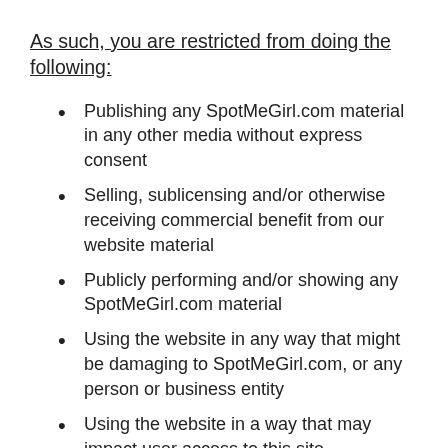As such, you are restricted from doing the following:
Publishing any SpotMeGirl.com material in any other media without express consent
Selling, sublicensing and/or otherwise receiving commercial benefit from our website material
Publicly performing and/or showing any SpotMeGirl.com material
Using the website in any way that might be damaging to SpotMeGirl.com, or any person or business entity
Using the website in a way that may impact user access to this site
Using the website contrary to applicable laws and regulations